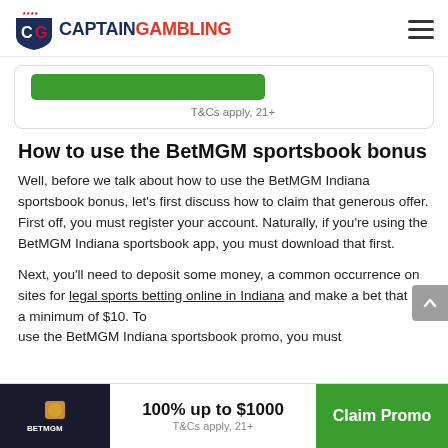CaptainGambling
[Figure (logo): CaptainGambling logo with shield and text, plus hamburger menu]
T&Cs apply, 21+
How to use the BetMGM sportsbook bonus
Well, before we talk about how to use the BetMGM Indiana sportsbook bonus, let's first discuss how to claim that generous offer. First off, you must register your account. Naturally, if you're using the BetMGM Indiana sportsbook app, you must download that first.
Next, you'll need to deposit some money, a common occurrence on sites for legal sports betting online in Indiana and make a bet that is a minimum of $10. To use the BetMGM Indiana sportsbook promo, you must
100% up to $1000
T&Cs apply, 21+
Claim Promo